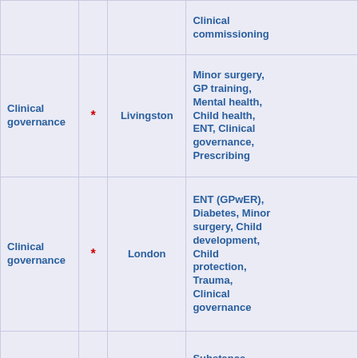| Role/Topic | Flag | Location | Specialties |
| --- | --- | --- | --- |
|  |  |  | Clinical commissioning |
| Clinical governance | * | Livingston | Minor surgery, GP training, Mental health, Child health, ENT, Clinical governance, Prescribing |
| Clinical governance | * | London | ENT (GPwER), Diabetes, Minor surgery, Child development, Child protection, Trauma, Clinical governance |
|  |  |  | Substance misuse, Clinica... |